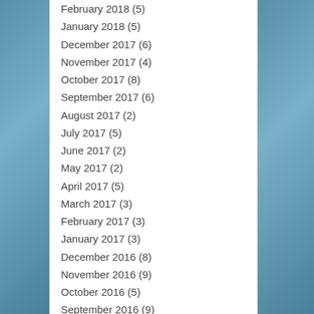February 2018 (5)
January 2018 (5)
December 2017 (6)
November 2017 (4)
October 2017 (8)
September 2017 (6)
August 2017 (2)
July 2017 (5)
June 2017 (2)
May 2017 (2)
April 2017 (5)
March 2017 (3)
February 2017 (3)
January 2017 (3)
December 2016 (8)
November 2016 (9)
October 2016 (5)
September 2016 (9)
August 2016 (5)
July 2016 (2)
June 2016 (3)
May 2016 (3)
Follow Us